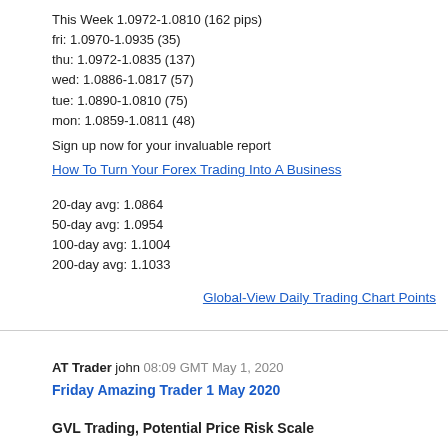This Week 1.0972-1.0810 (162 pips)
fri: 1.0970-1.0935 (35)
thu: 1.0972-1.0835 (137)
wed: 1.0886-1.0817 (57)
tue: 1.0890-1.0810 (75)
mon: 1.0859-1.0811 (48)
Sign up now for your invaluable report
How To Turn Your Forex Trading Into A Business
20-day avg: 1.0864
50-day avg: 1.0954
100-day avg: 1.1004
200-day avg: 1.1033
Global-View Daily Trading Chart Points
AT Trader john 08:09 GMT May 1, 2020
Friday Amazing Trader 1 May 2020
GVL Trading, Potential Price Risk Scale